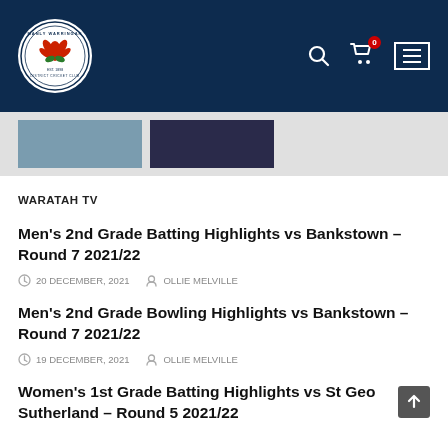Manly Warringah District Cricket Club
[Figure (photo): Two thumbnail images partially visible at top of content area]
WARATAH TV
Men's 2nd Grade Batting Highlights vs Bankstown – Round 7 2021/22
20 DECEMBER, 2021   OLLIE MELVILLE
Men's 2nd Grade Bowling Highlights vs Bankstown – Round 7 2021/22
19 DECEMBER, 2021   OLLIE MELVILLE
Women's 1st Grade Batting Highlights vs St Geo Sutherland – Round 5 2021/22